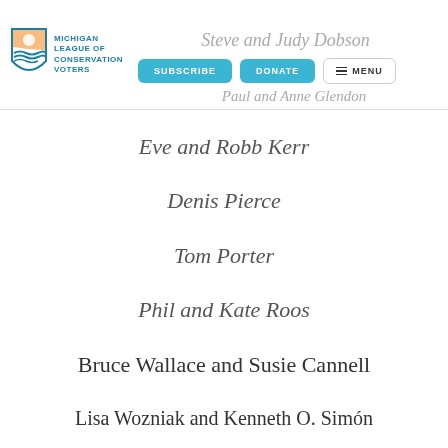Michigan League of Conservation Voters — Steve and Judy Dobson — Paul and Anne Glendon — SUBSCRIBE | DONATE | MENU
Eve and Robb Kerr
Denis Pierce
Tom Porter
Phil and Kate Roos
Bruce Wallace and Susie Cannell
Lisa Wozniak and Kenneth O. Simón